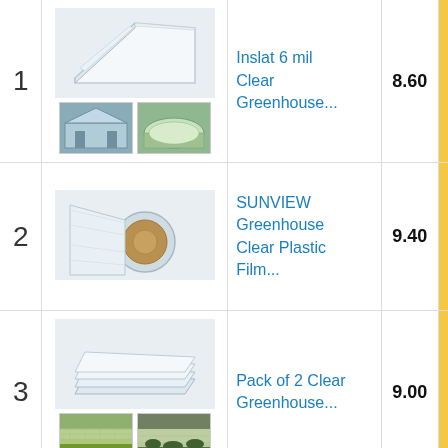| Rank | Image | Product | Score |  |
| --- | --- | --- | --- | --- |
| 1 | [image: greenhouse plastic film folded] | Inslat 6 mil Clear Greenhouse... | 8.60 |  |
| 2 | [image: plastic film roll] | SUNVIEW Greenhouse Clear Plastic Film... | 9.40 |  |
| 3 | [image: clear plastic sheets] | Pack of 2 Clear Greenhouse... | 9.00 |  |